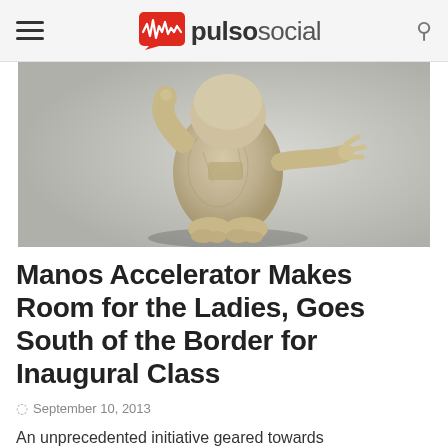pulsosocial
[Figure (photo): Ancient clay figurine of a rotund humanoid figure with arms outstretched, photographed against a gray background]
Manos Accelerator Makes Room for the Ladies, Goes South of the Border for Inaugural Class
September 10, 2013
An unprecedented initiative geared towards